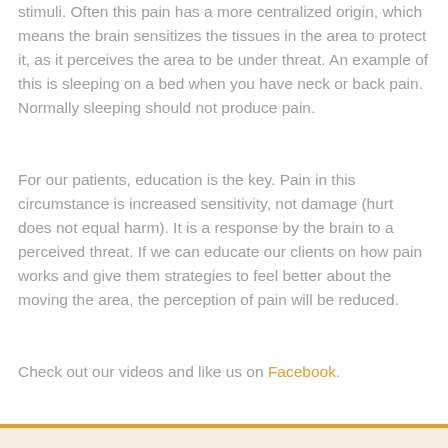stimuli. Often this pain has a more centralized origin, which means the brain sensitizes the tissues in the area to protect it, as it perceives the area to be under threat. An example of this is sleeping on a bed when you have neck or back pain. Normally sleeping should not produce pain.
For our patients, education is the key. Pain in this circumstance is increased sensitivity, not damage (hurt does not equal harm). It is a response by the brain to a perceived threat. If we can educate our clients on how pain works and give them strategies to feel better about the moving the area, the perception of pain will be reduced.
Check out our videos and like us on Facebook.